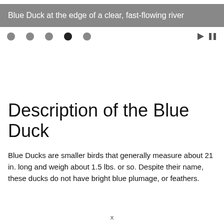Blue Duck at the edge of a clear, fast-flowing river
[Figure (other): Slideshow navigation dots (5 dots, 4th active) with play and pause buttons]
Description of the Blue Duck
Blue Ducks are smaller birds that generally measure about 21 in. long and weigh about 1.5 lbs. or so. Despite their name, these ducks do not have bright blue plumage, or feathers.
x